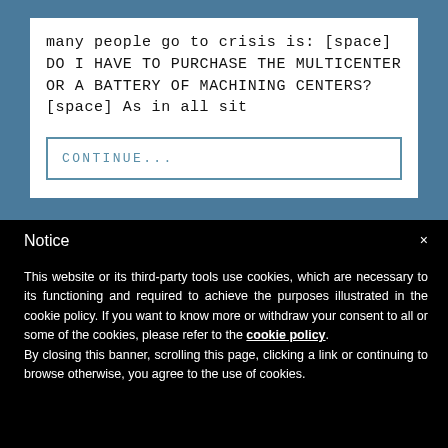many people go to crisis is: [space] DO I HAVE TO PURCHASE THE MULTICENTER OR A BATTERY OF MACHINING CENTERS? [space] As in all sit
CONTINUE...
Notice
This website or its third-party tools use cookies, which are necessary to its functioning and required to achieve the purposes illustrated in the cookie policy. If you want to know more or withdraw your consent to all or some of the cookies, please refer to the cookie policy. By closing this banner, scrolling this page, clicking a link or continuing to browse otherwise, you agree to the use of cookies.